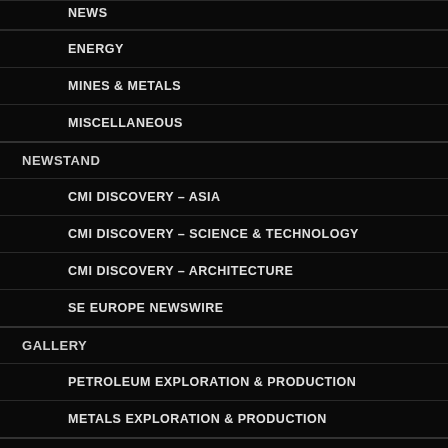NEWS
ENERGY
MINES & METALS
MISCELLANEOUS
NEWSTAND
CMI DISCOVERY – ASIA
CMI DISCOVERY – SCIENCE & TECHNOLOGY
CMI DISCOVERY – ARCHITECTURE
SE EUROPE NEWSWIRE
GALLERY
PETROLEUM EXPLORATION & PRODUCTION
METALS EXPLORATION & PRODUCTION
CONFERENCE DOCUMENTS